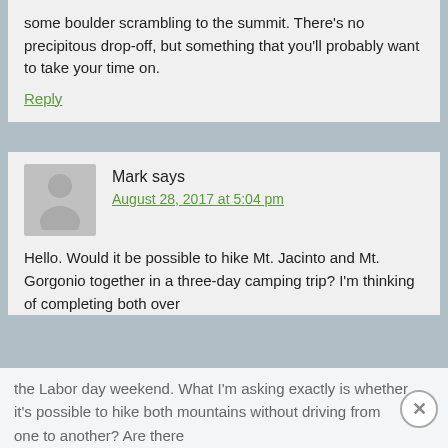some boulder scrambling to the summit. There's no precipitous drop-off, but something that you'll probably want to take your time on.
Reply
Mark says
August 28, 2017 at 5:04 pm
Hello. Would it be possible to hike Mt. Jacinto and Mt. Gorgonio together in a three-day camping trip? I'm thinking of completing both over the Labor day weekend. What I'm asking exactly is whether it's possible to hike both mountains without driving from one to another? Are there